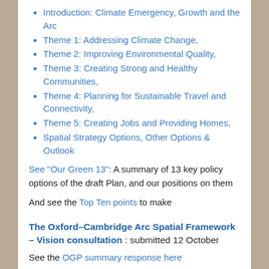Introduction: Climate Emergency, Growth and the Arc
Theme 1: Addressing Climate Change,
Theme 2: Improving Environmental Quality,
Theme 3: Creating Strong and Healthy Communities,
Theme 4: Planning for Sustainable Travel and Connectivity,
Theme 5: Creating Jobs and Providing Homes,
Spatial Strategy Options, Other Options & Outlook
See "Our Green 13": A summary of 13 key policy options of the draft Plan, and our positions on them
And see the Top Ten points to make
The Oxford–Cambridge Arc Spatial Framework – Vision consultation : submitted 12 October
See the OGP summary response here